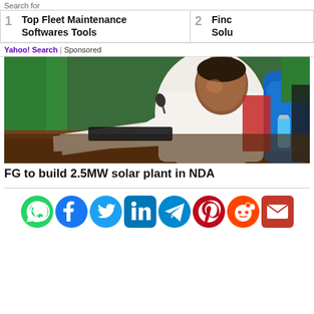Search for
1  Top Fleet Maintenance Softwares Tools
2  Find... Solu...
Yahoo! Search | Sponsored
[Figure (photo): A man in white clothing sitting at a desk with documents and a microphone, in a meeting setting with flags in the background]
FG to build 2.5MW solar plant in NDA
[Figure (infographic): Social sharing icons row: WhatsApp, Facebook, Twitter, LinkedIn, Telegram, Pinterest, Reddit, Email]